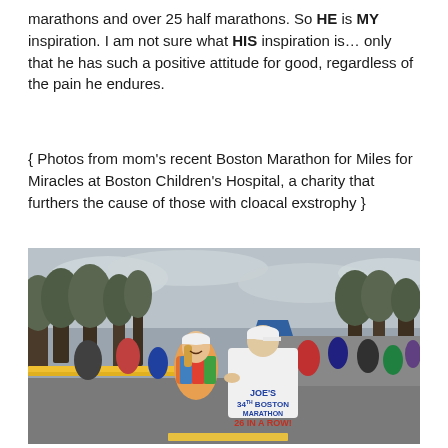marathons and over 25 half marathons. So HE is MY inspiration. I am not sure what HIS inspiration is... only that he has such a positive attitude for good, regardless of the pain he endures.
{ Photos from mom's recent Boston Marathon for Miles for Miracles at Boston Children's Hospital, a charity that furthers the cause of those with cloacal exstrophy }
[Figure (photo): Photo of two runners at the Boston Marathon on a road lined with yellow barriers and trees. A woman in a white visor and colorful running gear faces a man in a white cap and white t-shirt that reads 'JOE'S 34TH BOSTON MARATHON 26 IN A ROW!' in bold red and blue text. Other runners are visible in the background along with bare trees and an overcast sky.]